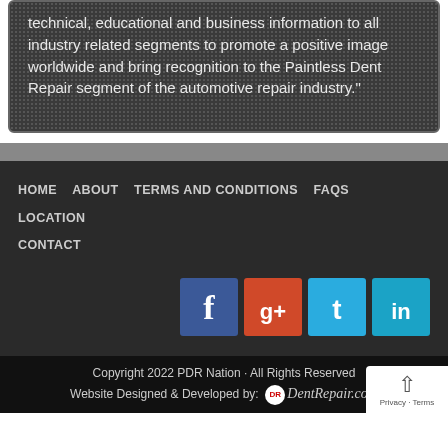technical, educational and business information to all industry related segments to promote a positive image worldwide and bring recognition to the Paintless Dent Repair segment of the automotive repair industry."
HOME   ABOUT   TERMS AND CONDITIONS   FAQS   LOCATION   CONTACT
[Figure (illustration): Social media icons: Facebook (blue), Google+ (red/orange), Twitter (light blue), LinkedIn (light blue)]
Copyright 2022 PDR Nation · All Rights Reserved
Website Designed & Developed by: DentRepair.com